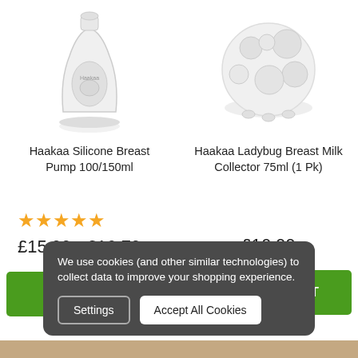[Figure (photo): Haakaa Silicone Breast Pump product image - clear silicone pump bottle]
[Figure (photo): Haakaa Ladybug Breast Milk Collector product image - round clear collector with polka dot pattern]
Haakaa Silicone Breast Pump 100/150ml
Haakaa Ladybug Breast Milk Collector 75ml (1 Pk)
★★★★★
£15.99 - £16.79
£16.99
OPTIONS
ADD TO CART
We use cookies (and other similar technologies) to collect data to improve your shopping experience.
Settings
Accept All Cookies